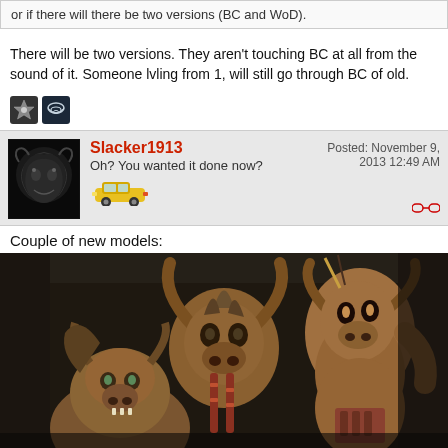or if there will there be two versions (BC and WoD).
There will be two versions. They aren't touching BC at all from the sound of it. Someone lvling from 1, will still go through BC of old.
[Figure (other): Two small badge/icon images: a dark star-like badge and a steam logo badge]
Slacker1913 — Oh? You wanted it done now? — Posted: November 9, 2013 12:49 AM
Couple of new models:
[Figure (photo): Game screenshot showing Tauren character models from World of Warcraft, including updated character designs with horns and detailed textures against a dark stone background]